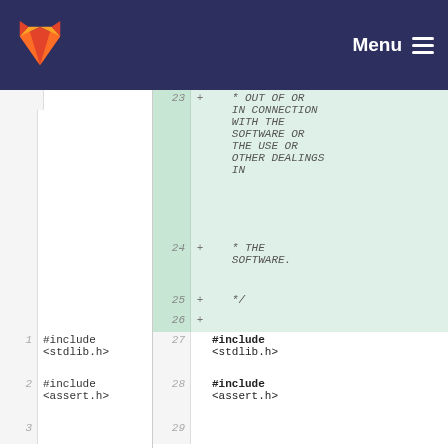GitLab — Menu
Diff view showing added lines 23-29 with license text and #include statements
| old_line | new_line | op | code |
| --- | --- | --- | --- |
|  | 23 | + |  * OUT OF OR IN CONNECTION WITH THE SOFTWARE OR THE USE OR OTHER DEALINGS IN |
|  | 24 | + |  * THE SOFTWARE. |
|  | 25 | + |  */ |
|  | 26 | + |  |
| 1 | 27 | + | #include <stdlib.h> |
| 2 | 28 | + | #include <assert.h> |
| 3 | 29 |  |  |